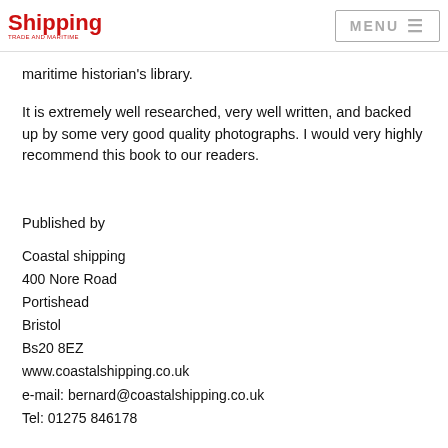Shipping | MENU
maritime historian's library.
It is extremely well researched, very well written, and backed up by some very good quality photographs. I would very highly recommend this book to our readers.
Published by
Coastal shipping
400 Nore Road
Portishead
Bristol
Bs20 8EZ
www.coastalshipping.co.uk
e-mail: bernard@coastalshipping.co.uk
Tel: 01275 846178